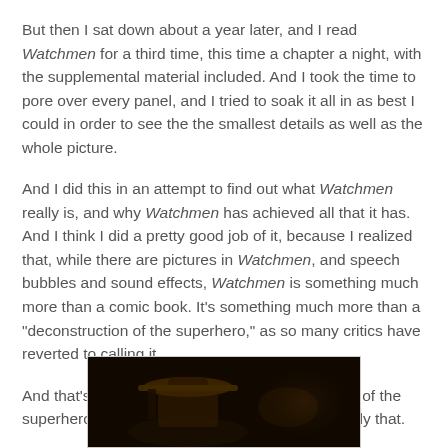But then I sat down about a year later, and I read Watchmen for a third time, this time a chapter a night, with the supplemental material included. And I took the time to pore over every panel, and I tried to soak it all in as best I could in order to see the the smallest details as well as the whole picture.
And I did this in an attempt to find out what Watchmen really is, and why Watchmen has achieved all that it has. And I think I did a pretty good job of it, because I realized that, while there are pictures in Watchmen, and speech bubbles and sound effects, Watchmen is something much more than a comic book. It's something much more than a "deconstruction of the superhero," as so many critics have reverted to calling it.
And that's not to say that it isn't. A deconstruction of the superhero, that is. Because, Watchmen is certainly that.
[Figure (photo): Dark photograph showing a dimly lit scene, likely a still from the Watchmen film or comic adaptation.]